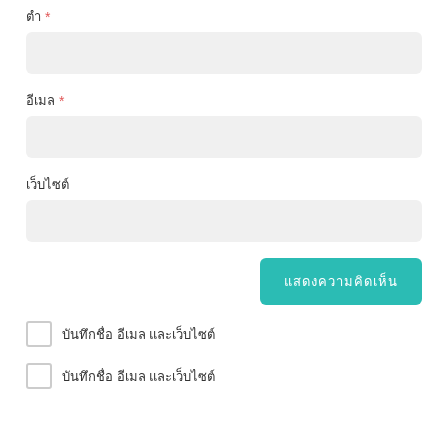ตำ *
อีเมล *
เว็บไซต์
แสดงความคิดเห็น
บันทึกชื่อ อีเมล และเว็บไซต์
บันทึกชื่อ อีเมล และเว็บไซต์